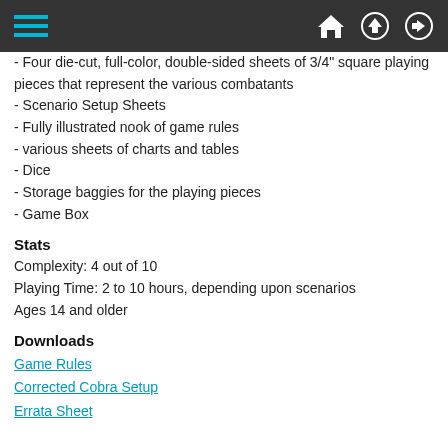Navigation bar with hamburger menu, home, upload, and login icons
- Four die-cut, full-color, double-sided sheets of 3/4" square playing pieces that represent the various combatants
- Scenario Setup Sheets
- Fully illustrated nook of game rules
- various sheets of charts and tables
- Dice
- Storage baggies for the playing pieces
- Game Box
Stats
Complexity: 4 out of 10
Playing Time: 2 to 10 hours, depending upon scenarios
Ages 14 and older
Downloads
Game Rules
Corrected Cobra Setup
Errata Sheet